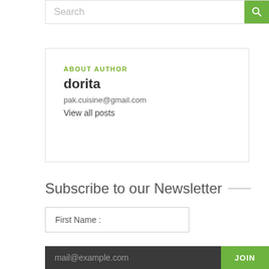Search
ABOUT AUTHOR
dorita
pak.cuisine@gmail.com
View all posts
Subscribe to our Newsletter
First Name :
mail@example.com
JOIN